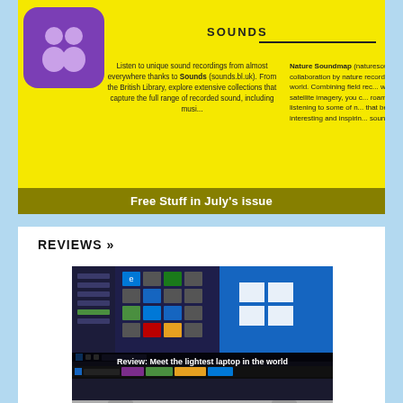[Figure (screenshot): Yellow banner section showing 'SOUNDS' heading with purple icon and text about listening to unique sound recordings. Left column mentions Sounds (sounds.bl.uk) from British Library. Right column mentions Nature Soundmap collaboration by nature recordists.]
Free Stuff in July's issue
REVIEWS »
[Figure (screenshot): Screenshot of Windows 10 Start menu and desktop on a laptop screen]
Review: Meet the lightest laptop in the world
[Figure (photo): Laptop computer shown in tablet/tent mode from below, showing screen with Windows 10 taskbar and keyboard]